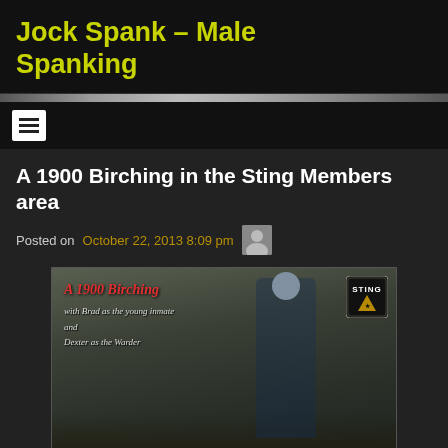Jock Spank – Male Spanking
Posted on October 22, 2013 8:09 pm
A 1900 Birching in the Sting Members area
[Figure (photo): Video still showing two men in a period setting with text overlay reading 'A 1900 Birching with Brad as the young inmate and Dexter as the Warder', with a Sting logo in the top right corner.]